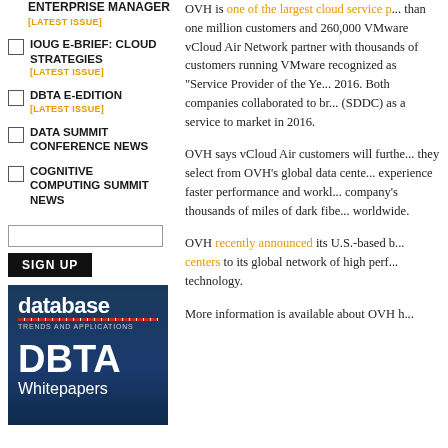ENTERPRISE MANAGER
[LATEST ISSUE]
IOUG E-BRIEF: CLOUD STRATEGIES [LATEST ISSUE]
DBTA E-EDITION [LATEST ISSUE]
DATA SUMMIT CONFERENCE NEWS
COGNITIVE COMPUTING SUMMIT NEWS
SIGN UP
[Figure (illustration): Database Trends and Applications DBTA Whitepapers cover image with dark blue background]
OVH is one of the largest cloud service p... than one million customers and 260,000 VMware vCloud Air Network partner with thousands of customers running VMware recognized as "Service Provider of the Ye... 2016. Both companies collaborated to br... (SDDC) as a service to market in 2016.
OVH says vCloud Air customers will furthe... they select from OVH's global data cente... experience faster performance and workl... company's thousands of miles of dark fibe... worldwide.
OVH recently announced its U.S.-based b... centers to its global network of high perf... technology.
More information is available about OVH h...